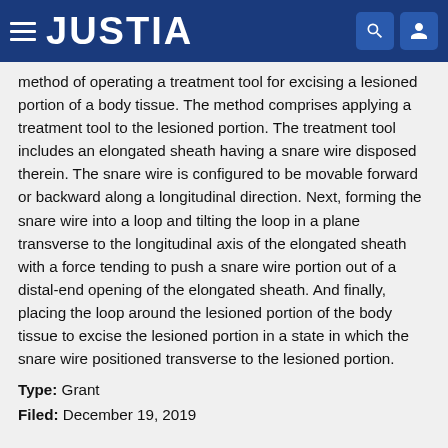JUSTIA
method of operating a treatment tool for excising a lesioned portion of a body tissue. The method comprises applying a treatment tool to the lesioned portion. The treatment tool includes an elongated sheath having a snare wire disposed therein. The snare wire is configured to be movable forward or backward along a longitudinal direction. Next, forming the snare wire into a loop and tilting the loop in a plane transverse to the longitudinal axis of the elongated sheath with a force tending to push a snare wire portion out of a distal-end opening of the elongated sheath. And finally, placing the loop around the lesioned portion of the body tissue to excise the lesioned portion in a state in which the snare wire positioned transverse to the lesioned portion.
Type: Grant
Filed: December 19, 2019